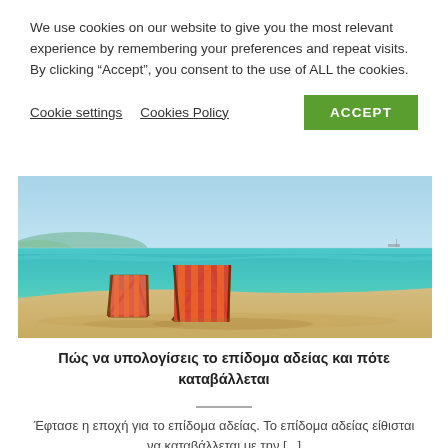We use cookies on our website to give you the most relevant experience by remembering your preferences and repeat visits. By clicking “Accept”, you consent to the use of ALL the cookies.
Cookie settings   Cookies Policy   ACCEPT
[Figure (photo): Beach scene with two orange-and-striped wooden deck chairs on sandy beach, turquoise ocean water and light blue sky in background]
Πώς να υπολογίσεις το επίδομα αδείας και πότε καταβάλλεται
Όφτασε η εποχή για το επίδομα αδείας. Το επίδομα αδείας είθισται να καταβάλλεται με την [...]